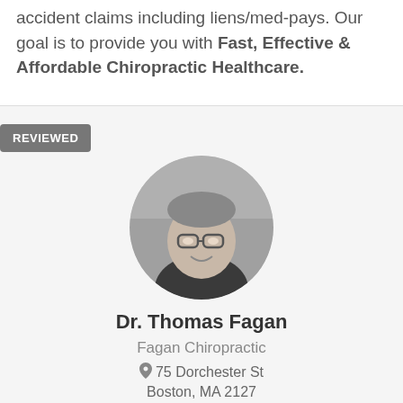accident claims including liens/med-pays. Our goal is to provide you with Fast, Effective & Affordable Chiropractic Healthcare.
[Figure (photo): Circular cropped black-and-white headshot photo of Dr. Thomas Fagan, a man with glasses wearing a dark shirt, smiling, outdoors background.]
Dr. Thomas Fagan
Fagan Chiropractic
75 Dorchester St
Boston, MA 2127